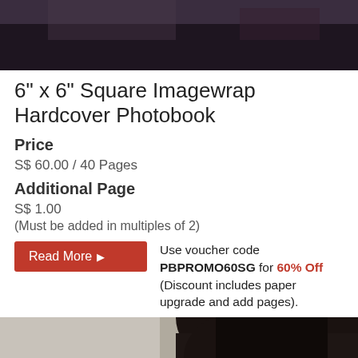[Figure (photo): Top portion of a photo showing dark clothing/hair against a light background]
6" x 6" Square Imagewrap Hardcover Photobook
Price
S$ 60.00 / 40 Pages
Additional Page
S$ 1.00
(Must be added in multiples of 2)
Use voucher code PBPROMO60SG for 60% Off (Discount includes paper upgrade and add pages).
[Figure (photo): Bottom portion showing a person with dark hair wearing black clothing]